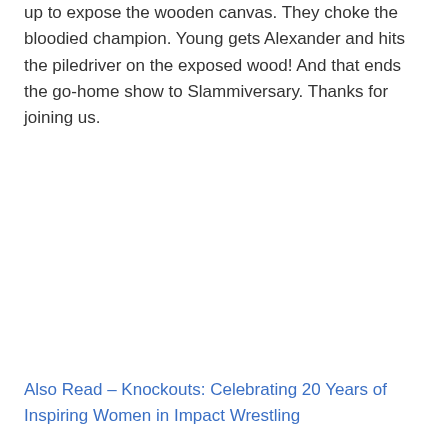up to expose the wooden canvas. They choke the bloodied champion. Young gets Alexander and hits the piledriver on the exposed wood! And that ends the go-home show to Slammiversary. Thanks for joining us.
Also Read – Knockouts: Celebrating 20 Years of Inspiring Women in Impact Wrestling